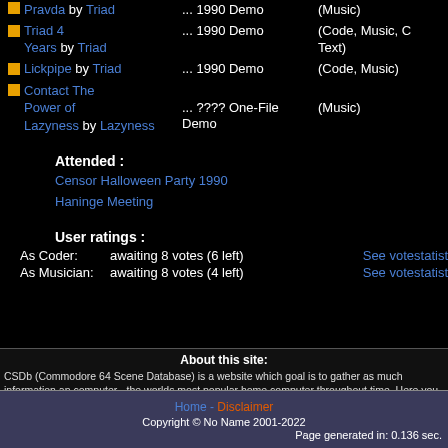Pravda by Triad ... 1990 Demo (Music)
Triad 4 Years by Triad ... 1990 Demo (Code, Music, Text)
Lickpipe by Triad ... 1990 Demo (Code, Music)
Contact The Power of Lazyness by Lazyness ... ???? One-File Demo (Music)
Attended :
Censor Halloween Party 1990
Haninge Meeting
User ratings :
As Coder:     awaiting 8 votes (6 left)  See votestatist
As Musician: awaiting 8 votes (4 left)  See votestatist
About this site:
CSDb (Commodore 64 Scene Database) is a website which goal is to gather as much information and computer - the worlds most popular home computer throughout time. Here you can find almost anyth more is being added every day. As this website is scene related, you can mostly find demos, music a (the sceners), but you can also find a lot of the old classic games here. Try out the search box in the the latest additions.
Home - Disclaimer
Copyright © No Name 2001-2022
Page generated in: 0.136 sec.